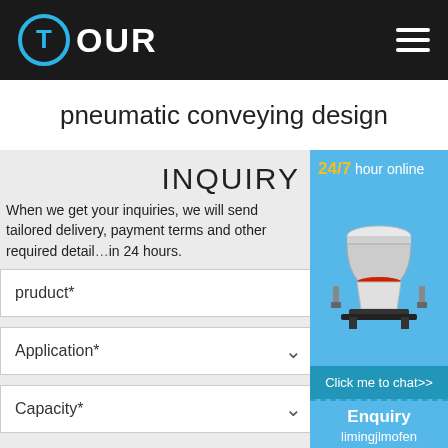[Figure (logo): TOUR logo: blue circle with T icon and white OUR text on dark background header]
pneumatic conveying design
INQUIRY
When we get your inquiries, we will send tailored delivery, payment terms and other required detail within 24 hours.
pruduct*
Application*
Capacity*
[Figure (photo): Industrial cone crusher machine with blue/white/red coloring on blue background with 24/7 hour online text and Click me to chat>> button, Enquiry and limingjlmofen text below]